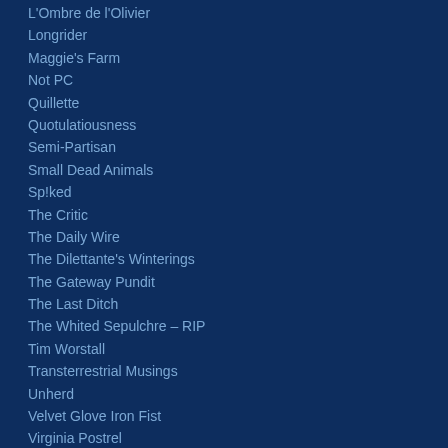L'Ombre de l'Olivier
Longrider
Maggie's Farm
Not PC
Quillette
Quotulatiousness
Semi-Partisan
Small Dead Animals
Sp!ked
The Critic
The Daily Wire
The Dilettante's Winterings
The Gateway Pundit
The Last Ditch
The Whited Sepulchre – RIP
Tim Worstall
Transterrestrial Musings
Unherd
Velvet Glove Iron Fist
Virginia Postrel
Economics
Adam Smith Institute
Café Hayek
Cato Institute
Coordination Problem
dical. Self ownership. Sexuality.